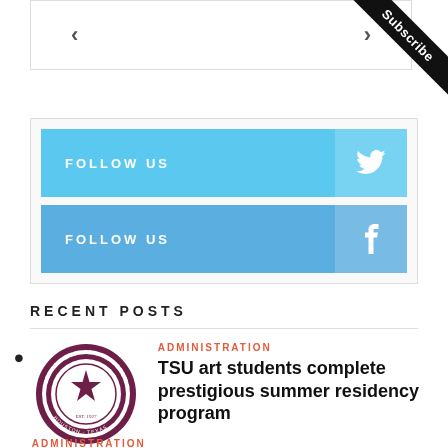[Figure (other): Navigation arrows box with left and right chevron arrows]
[Figure (infographic): Subscribe diagonal ribbon banner in top-right corner]
[Figure (infographic): Follow Us on Twitter button — blue bar with Twitter bird icon]
[Figure (infographic): Follow Us on Facebook button — blue bar with Facebook f icon]
RECENT POSTS
[Figure (logo): Texas Southern University circular seal]
ADMINISTRATION
TSU art students complete prestigious summer residency program
ADMINISTRATION